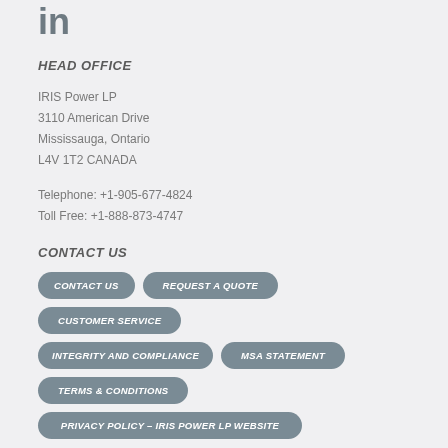[Figure (logo): LinkedIn icon (in letters)]
HEAD OFFICE
IRIS Power LP
3110 American Drive
Mississauga, Ontario
L4V 1T2 CANADA
Telephone: +1-905-677-4824
Toll Free: +1-888-873-4747
CONTACT US
CONTACT US
REQUEST A QUOTE
CUSTOMER SERVICE
INTEGRITY AND COMPLIANCE
MSA STATEMENT
TERMS & CONDITIONS
PRIVACY POLICY – IRIS POWER LP WEBSITE